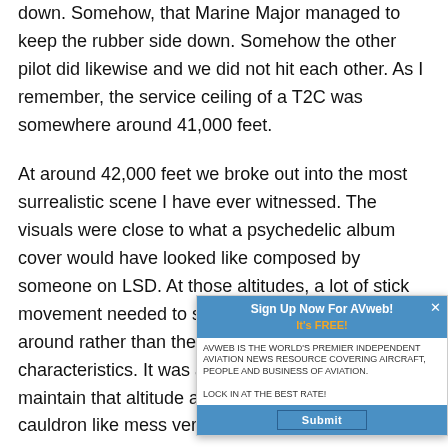down. Somehow, that Marine Major managed to keep the rubber side down. Somehow the other pilot did likewise and we did not hit each other. As I remember, the service ceiling of a T2C was somewhere around 41,000 feet.
At around 42,000 feet we broke out into the most surrealistic scene I have ever witnessed. The visuals were close to what a psychedelic album cover would have looked like composed by someone on LSD. At those altitudes, a lot of stick movement needed to sort of herd the airplane around rather than the usual precise flying characteristics. It was all my pilot could do to maintain that altitude and not drop back into this cauldron like mess very close to our spires of still building T-storm clou... overshadowing what looks like a n...
[Figure (screenshot): A popup advertisement overlay with blue header reading 'Sign Up Now For AVweb! It's FREE!' with an orange subtitle, small body text, and a blue 'Submit' button at the bottom. Has a close X button in top right.]